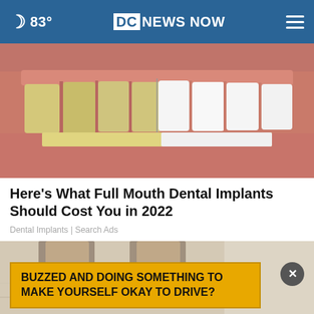🌙 83° | DC NEWS NOW | ☰
[Figure (photo): Close-up of a person's mouth/smile showing teeth — left side shows yellowed/natural teeth, right side shows bright white dental implants or veneers, for-before-after comparison.]
Here's What Full Mouth Dental Implants Should Cost You in 2022
Dental Implants | Search Ads
[Figure (photo): Partial lower body photo showing legs/feet of a person, beige/marble floor background, with an overlay ad banner at bottom.]
BUZZED AND DOING SOMETHING TO MAKE YOURSELF OKAY TO DRIVE?